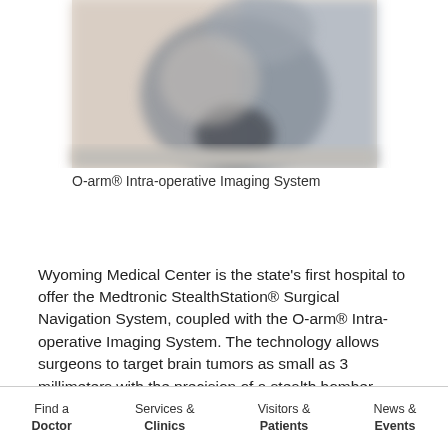[Figure (photo): Photograph of the O-arm® Intra-operative Imaging System medical device, showing a large white/grey C-arm or O-arm imaging machine in a clinical setting. The image is slightly blurred/out of focus.]
O-arm® Intra-operative Imaging System
Wyoming Medical Center is the state's first hospital to offer the Medtronic StealthStation® Surgical Navigation System, coupled with the O-arm® Intra-operative Imaging System. The technology allows surgeons to target brain tumors as small as 3 millimeters with the precision of a stealth bomber. Spine surgeons use it to plan and perform complicated surgeries and create images in real-time,
Find a Doctor | Services & Clinics | Visitors & Patients | News & Events